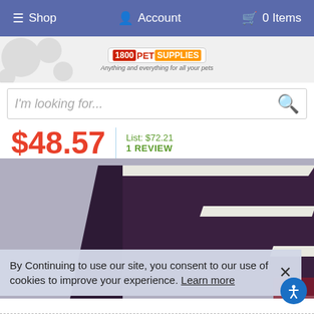Shop  Account  0 Items
[Figure (logo): 1800PetSupplies logo with tagline 'Anything and everything for all your pets']
I'm looking for...
$48.57  List: $72.21  1 REVIEW
[Figure (photo): Purple and white pet stairs/steps product photo]
By Continuing to use our site, you consent to our use of cookies to improve your experience. Learn more